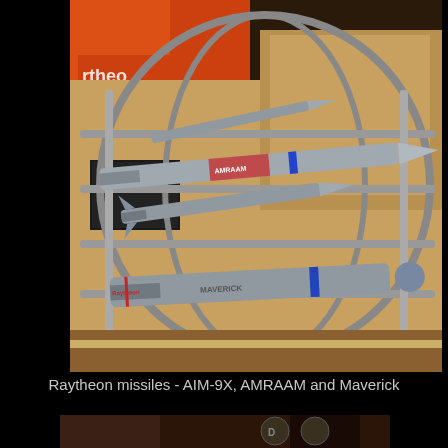[Figure (photo): Display of Raytheon missile models including AIM-9X, AMRAAM and Maverick missiles mounted in a spherical metal frame rack at what appears to be a trade show or exhibition. Background shows an orange and tan exhibition booth with Raytheon branding.]
Raytheon missiles - AIM-9X, AMRAAM and Maverick
[Figure (photo): Partial view of another display at the bottom of the page, showing what appears to be a dark-themed exhibition area with various items.]